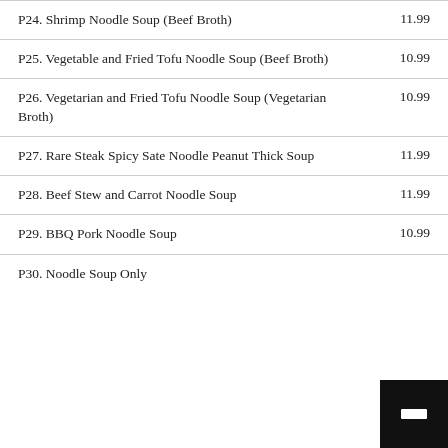P24. Shrimp Noodle Soup (Beef Broth)   11.99
P25. Vegetable and Fried Tofu Noodle Soup (Beef Broth)   10.99
P26. Vegetarian and Fried Tofu Noodle Soup (Vegetarian Broth)   10.99
P27. Rare Steak Spicy Sate Noodle Peanut Thick Soup   11.99
P28. Beef Stew and Carrot Noodle Soup   11.99
P29. BBQ Pork Noodle Soup   10.99
P30. Noodle Soup Only   11.00